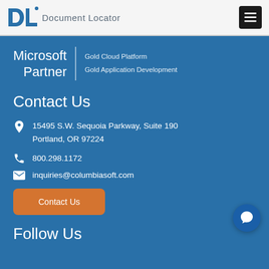Document Locator
[Figure (logo): DL Document Locator logo with stylized DL letters in blue and company name]
Microsoft Partner | Gold Cloud Platform | Gold Application Development
Contact Us
15495 S.W. Sequoia Parkway, Suite 190
Portland, OR 97224
800.298.1172
inquiries@columbiasoft.com
Contact Us
Follow Us